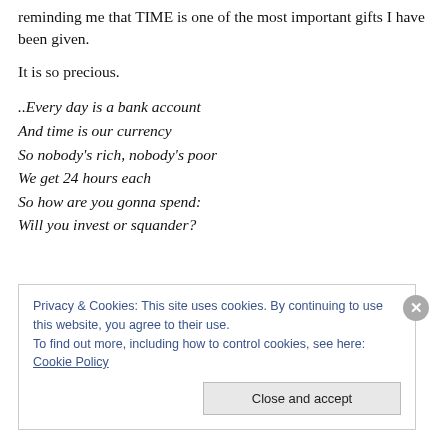reminding me that TIME is one of the most important gifts I have been given.
It is so precious.
..Every day is a bank account
And time is our currency
So nobody's rich, nobody's poor
We get 24 hours each
So how are you gonna spend:
Will you invest or squander?
Privacy & Cookies: This site uses cookies. By continuing to use this website, you agree to their use.
To find out more, including how to control cookies, see here: Cookie Policy
Close and accept